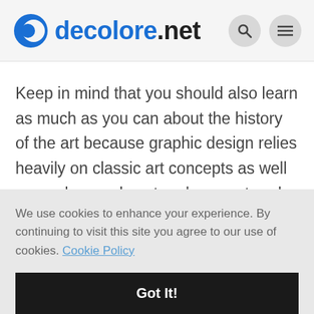decolore.net
Keep in mind that you should also learn as much as you can about the history of the art because graphic design relies heavily on classic art concepts as well as modern and postmodern era trends.
We use cookies to enhance your experience. By continuing to visit this site you agree to our use of cookies. Cookie Policy
Got It!